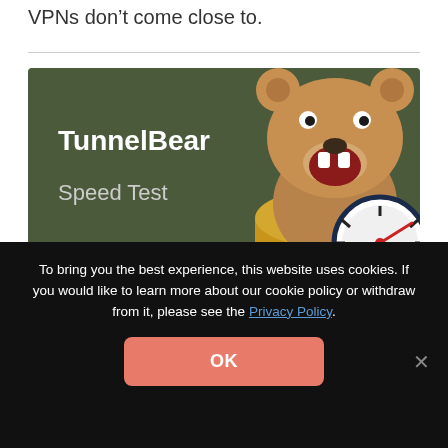VPNs don't come close to.
[Figure (illustration): TunnelBear Speed Test promotional banner with a cartoon bear emerging from a tunnel holding a speedometer, on a dark green background]
To bring you the best experience, this website uses cookies. If you would like to learn more about our cookie policy or withdraw from it, please see the Privacy Policy.